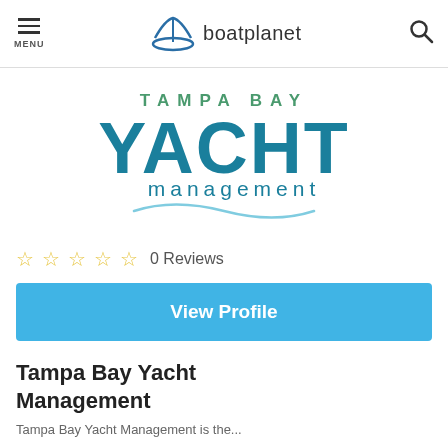MENU | boatplanet
[Figure (logo): Tampa Bay Yacht Management company logo with teal/blue lettering]
0 Reviews
View Profile
Tampa Bay Yacht Management
Tampa Bay Yacht Management is the...